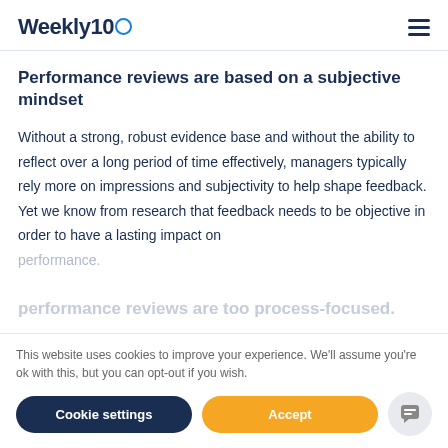Weekly10
Performance reviews are based on a subjective mindset
Without a strong, robust evidence base and without the ability to reflect over a long period of time effectively, managers typically rely more on impressions and subjectivity to help shape feedback. Yet we know from research that feedback needs to be objective in order to have a lasting impact on performance.
This website uses cookies to improve your experience. We'll assume you're ok with this, but you can opt-out if you wish.